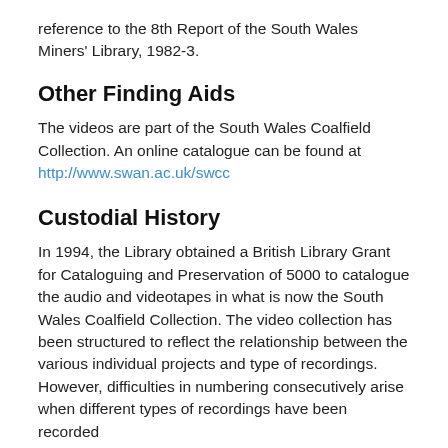reference to the 8th Report of the South Wales Miners' Library, 1982-3.
Other Finding Aids
The videos are part of the South Wales Coalfield Collection. An online catalogue can be found at http://www.swan.ac.uk/swcc
Custodial History
In 1994, the Library obtained a British Library Grant for Cataloguing and Preservation of 5000 to catalogue the audio and videotapes in what is now the South Wales Coalfield Collection. The video collection has been structured to reflect the relationship between the various individual projects and type of recordings. However, difficulties in numbering consecutively arise when different types of recordings have been recorded